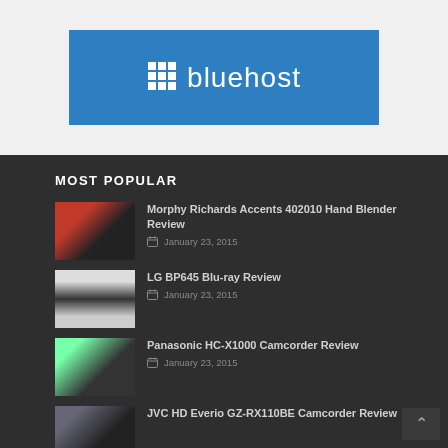[Figure (logo): Bluehost logo banner with blue background, grid icon and white text]
MOST POPULAR
Morphy Richards Accents 402010 Hand Blender Review — January 23, 2015
LG BP645 Blu-ray Review — January 23, 2015
Panasonic HC-X1000 Camcorder Review — January 23, 2015
JVC HD Everio GZ-RX110BE Camcorder Review